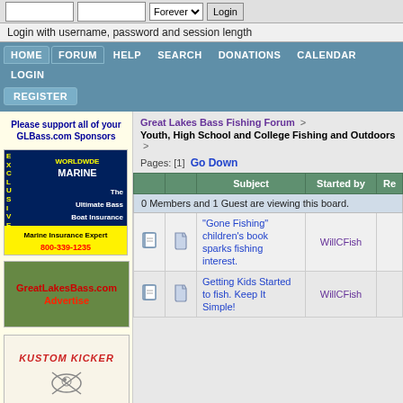Login with username, password and session length
HOME | FORUM | HELP | SEARCH | DONATIONS | CALENDAR | LOGIN | REGISTER
Please support all of your GLBass.com Sponsors
[Figure (illustration): Worldwide Marine - The Ultimate Bass Boat Insurance - Marine Insurance Expert 800-339-1235]
[Figure (illustration): GreatLakesBass.com Advertise banner]
[Figure (illustration): Kustom Kicker Jigs logo]
Great Lakes Bass Fishing Forum > Youth, High School and College Fishing and Outdoors >
Pages: [1]  Go Down
|  |  | Subject | Started by | Re |
| --- | --- | --- | --- | --- |
| 0 Members and 1 Guest are viewing this board. |  |  |  |  |
|  |  | "Gone Fishing" children's book sparks fishing interest. | WillCFish |  |
|  |  | Getting Kids Started to fish. Keep It Simple! | WillCFish |  |